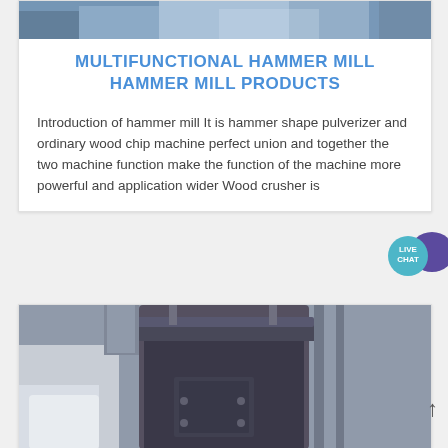[Figure (photo): Industrial machinery or factory equipment, partially visible at the top of the first card]
MULTIFUNCTIONAL HAMMER MILL HAMMER MILL PRODUCTS
Introduction of hammer mill It is hammer shape pulverizer and ordinary wood chip machine perfect union and together the two machine function make the function of the machine more powerful and application wider Wood crusher is
[Figure (photo): Large industrial hammer mill machine — a tall cylindrical dark metal machine with a door/hatch, photographed in an industrial facility]